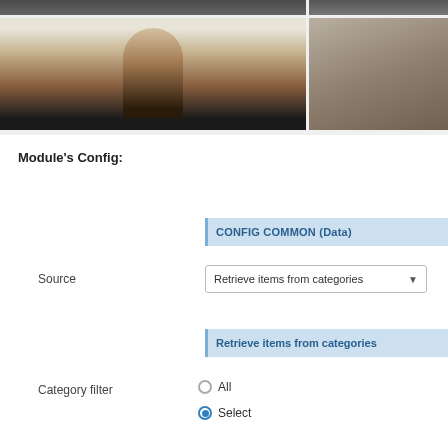[Figure (photo): Top gallery section showing two rows of photos: top row has a dark figure on left and a stone/architecture image on right; bottom row has a woman with hat in center and a stone wall image on right.]
Module's Config:
CONFIG COMMON (Data)
Source
Retrieve items from categories
Retrieve items from categories
Category filter
All
Select